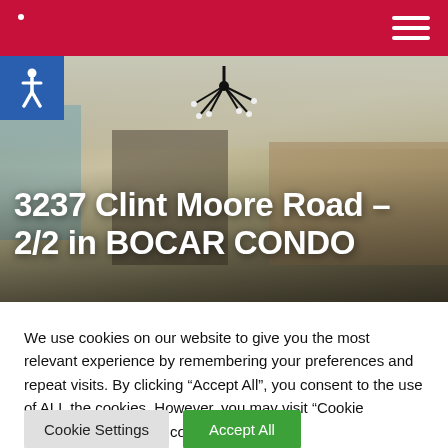[Figure (photo): Interior photo of a condo living/kitchen area with a modern chandelier, bookshelf with TV, and kitchen counter in the background.]
3237 Clint Moore Road – 2/2 in BOCAR CONDO
We use cookies on our website to give you the most relevant experience by remembering your preferences and repeat visits. By clicking “Accept All”, you consent to the use of ALL the cookies. However, you may visit “Cookie Settings” to provide a controlled consent.
Cookie Settings | Accept All